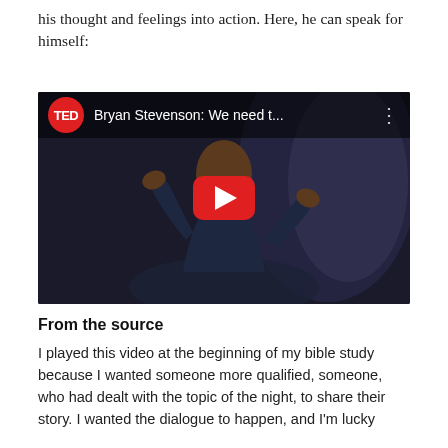his thought and feelings into action. Here, he can speak for himself:
[Figure (screenshot): YouTube video thumbnail showing Bryan Stevenson speaking on a TED stage, with TED logo and title 'Bryan Stevenson: We need t...' in the header bar and a red YouTube play button in the center.]
From the source
I played this video at the beginning of my bible study because I wanted someone more qualified, someone, who had dealt with the topic of the night, to share their story. I wanted the dialogue to happen, and I'm lucky